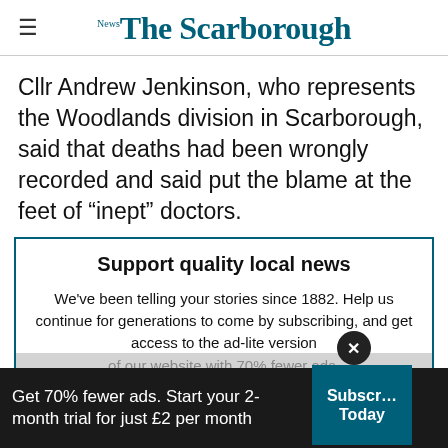The Scarborough News
Cllr Andrew Jenkinson, who represents the Woodlands division in Scarborough, said that deaths had been wrongly recorded and said put the blame at the feet of “inept” doctors.
Support quality local news
We've been telling your stories since 1882. Help us continue for generations to come by subscribing, and get access to the ad-lite version of our website with 70% fewer ads.
Subscribe
Get 70% fewer ads. Start your 2-month trial for just £2 per month  |  Subscribe Today